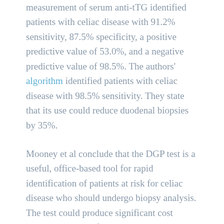measurement of serum anti-tTG identified patients with celiac disease with 91.2% sensitivity, 87.5% specificity, a positive predictive value of 53.0%, and a negative predictive value of 98.5%. The authors' algorithm identified patients with celiac disease with 98.5% sensitivity. They state that its use could reduce duodenal biopsies by 35%.
Mooney et al conclude that the DGP test is a useful, office-based tool for rapid identification of patients at risk for celiac disease who should undergo biopsy analysis. The test could produce significant cost savings—patients found to have celiac could immediately be placed on gluten-free diets, and be subjected to fewer office visits and